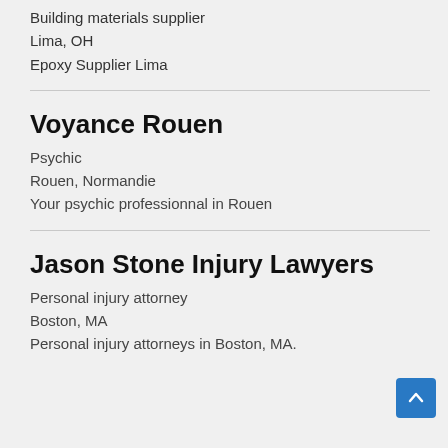Building materials supplier
Lima, OH
Epoxy Supplier Lima
Voyance Rouen
Psychic
Rouen, Normandie
Your psychic professionnal in Rouen
Jason Stone Injury Lawyers
Personal injury attorney
Boston, MA
Personal injury attorneys in Boston, MA.